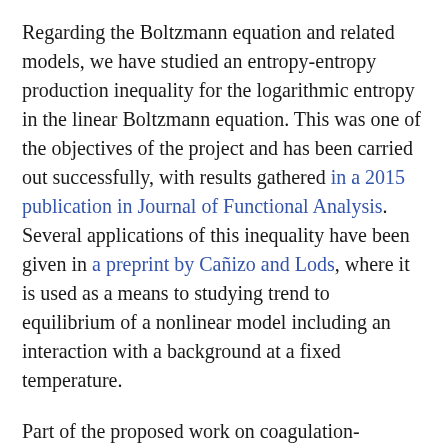Regarding the Boltzmann equation and related models, we have studied an entropy-entropy production inequality for the logarithmic entropy in the linear Boltzmann equation. This was one of the objectives of the project and has been carried out successfully, with results gathered in a 2015 publication in Journal of Functional Analysis. Several applications of this inequality have been given in a preprint by Cañizo and Lods, where it is used as a means to studying trend to equilibrium of a nonlinear model including an interaction with a background at a fixed temperature.
Part of the proposed work on coagulation-fragmentation models concerns the Becker-Döring equation, a model for nucleation and growth which is relevant is processes of crystallization, aggregation of lipids, and phase change phenomena. Quite complete results have now been obtained regarding asymptotic